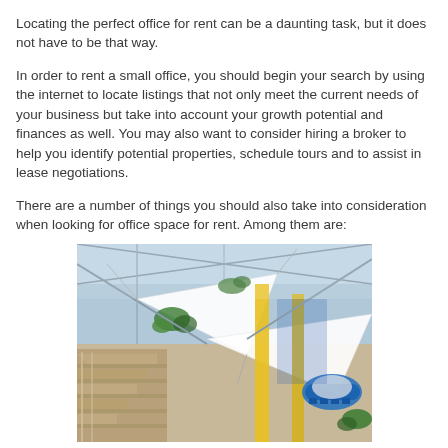Locating the perfect office for rent can be a daunting task, but it does not have to be that way.
In order to rent a small office, you should begin your search by using the internet to locate listings that not only meet the current needs of your business but take into account your growth potential and finances as well. You may also want to consider hiring a broker to help you identify potential properties, schedule tours and to assist in lease negotiations.
There are a number of things you should also take into consideration when looking for office space for rent. Among them are:
[Figure (photo): Aerial/overhead view of a modern office building interior atrium with white triangular shade structures, blue furniture, yellow columns, stairs, and greenery visible through a glass roof.]